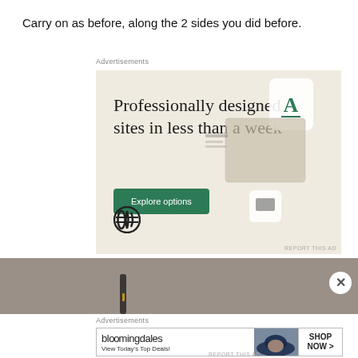Carry on as before, along the 2 sides you did before.
Advertisements
[Figure (screenshot): WordPress advertisement banner showing 'Professionally designed sites in less than a week' with a green 'Explore options' button and WordPress logo on a beige background, with phone/website mockup screenshots on the right side.]
[Figure (photo): Partial photo of a dark pen or stylus on a light surface, partially obscured by a circular close/dismiss button.]
Advertisements
[Figure (screenshot): Bloomingdale's advertisement banner showing the Bloomingdale's logo, 'View Today's Top Deals!' text, a model wearing a blue wide-brim hat, and a 'SHOP NOW >' button.]